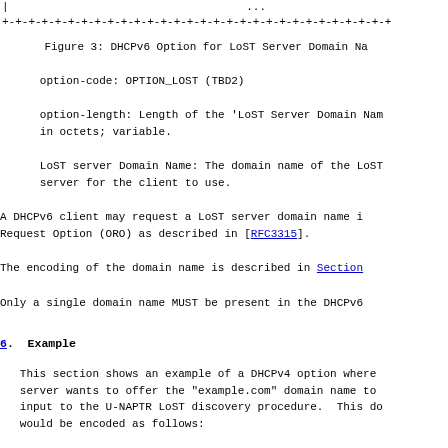|                                    ...
+-+-+-+-+-+-+-+-+-+-+-+-+-+-+-+-+-+-+-+-+-+-+-+-+-+-+-+-+-+
Figure 3: DHCPv6 Option for LoST Server Domain Na
option-code: OPTION_LOST (TBD2)
option-length: Length of the 'LoST Server Domain Nam
in octets; variable.
LoST server Domain Name: The domain name of the LoST
server for the client to use.
A DHCPv6 client may request a LoST server domain name i
Request Option (ORO) as described in [RFC3315].
The encoding of the domain name is described in Section
Only a single domain name MUST be present in the DHCPv6
6.  Example
This section shows an example of a DHCPv4 option where
server wants to offer the "example.com" domain name to
input to the U-NAPTR LoST discovery procedure.  This do
would be encoded as follows: